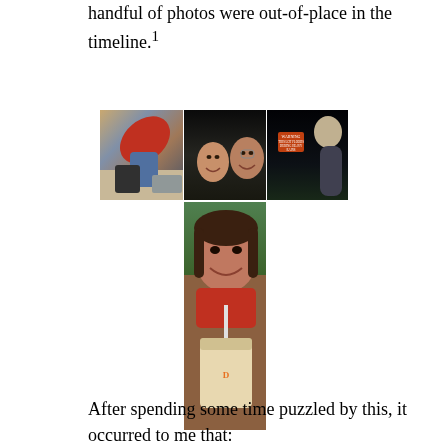handful of photos were out-of-place in the timeline.¹
[Figure (photo): A collage of four photographs: top-left shows a person bending over in a tiled indoor space; top-center shows two people smiling in a dark setting; top-right shows a person standing outside at night near a warning sign; bottom-center shows a young girl smiling and drinking through a straw from a large cup.]
After spending some time puzzled by this, it occurred to me that: